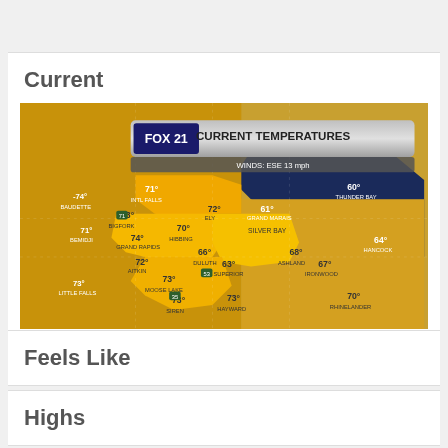Current
[Figure (map): FOX 21 Current Temperatures weather map showing temperatures across Minnesota and Wisconsin region. Winds: ESE 13 mph. Temperatures shown: Baudette -74°, Intl Falls 71°, Thunder Bay 60°, Bigfork 73°, Ely 72°, Grand Marais 61°, Bemidji 71°, Hibbing 70°, Silver Bay (shown), Grand Rapids 74°, Duluth 66°, Ashland 68°, Aitkin 72°, Superior 63°, Moose Lake 73°, Ironwood 67°, Little Falls 73°, Siren 73°, Hayward 73°, Rhinelander 70°, Hancock 64°]
Feels Like
Highs